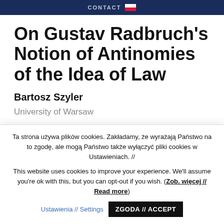CONTACT
On Gustav Radbruch's Notion of Antinomies of the Idea of Law
Bartosz Szyler
University of Warsaw
Ta strona używa plików cookies. Zakładamy, że wyrażają Państwo na to zgodę, ale mogą Państwo także wyłączyć pliki cookies w Ustawieniach. //
This website uses cookies to improve your experience. We'll assume you're ok with this, but you can opt-out if you wish. (Zob. więcej // Read more)  Ustawienia // Settings  ZGODA // ACCEPT